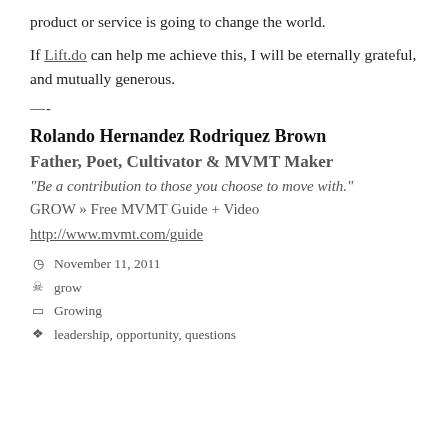product or service is going to change the world.
If Lift.do can help me achieve this, I will be eternally grateful, and mutually generous.
—-
Rolando Hernandez Rodriquez Brown
Father, Poet, Cultivator & MVMT Maker
“Be a contribution to those you choose to move with.”
GROW » Free MVMT Guide + Video
http://www.mvmt.com/guide
November 11, 2011
grow
Growing
leadership, opportunity, questions